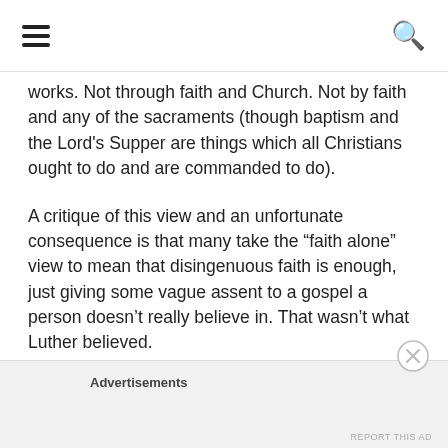[hamburger menu icon] [search icon]
works. Not through faith and Church. Not by faith and any of the sacraments (though baptism and the Lord's Supper are things which all Christians ought to do and are commanded to do).
A critique of this view and an unfortunate consequence is that many take the “faith alone” view to mean that disingenuous faith is enough, just giving some vague assent to a gospel a person doesn’t really believe in. That wasn’t what Luther believed.
Advertisements